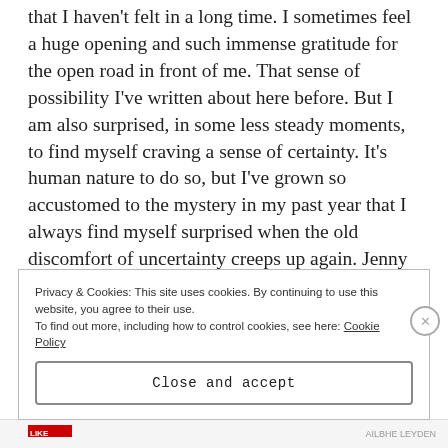that I haven't felt in a long time. I sometimes feel a huge opening and such immense gratitude for the open road in front of me. That sense of possibility I've written about here before. But I am also surprised, in some less steady moments, to find myself craving a sense of certainty. It's human nature to do so, but I've grown so accustomed to the mystery in my past year that I always find myself surprised when the old discomfort of uncertainty creeps up again. Jenny Offill also says, "You think you want the blue skies, the open road, but really you want the tunnel, you want to know how the
Privacy & Cookies: This site uses cookies. By continuing to use this website, you agree to their use.
To find out more, including how to control cookies, see here: Cookie Policy
Close and accept